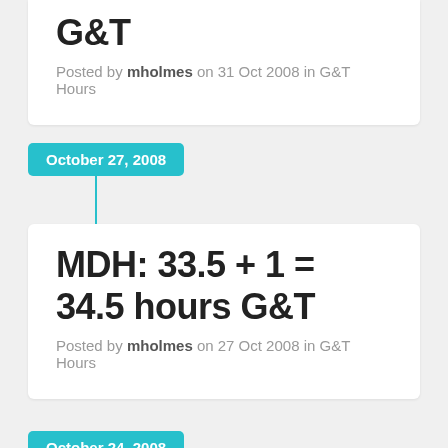G&T
Posted by mholmes on 31 Oct 2008 in G&T Hours
October 27, 2008
MDH: 33.5 + 1 = 34.5 hours G&T
Posted by mholmes on 27 Oct 2008 in G&T Hours
October 24, 2008